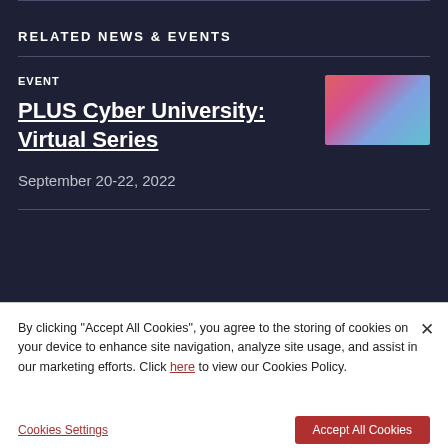RELATED NEWS & EVENTS
EVENT
PLUS Cyber University: Virtual Series
September 20-22, 2022
[Figure (photo): Abstract colorful image showing pink and teal/blue tones, used as event thumbnail]
By clicking "Accept All Cookies", you agree to the storing of cookies on your device to enhance site navigation, analyze site usage, and assist in our marketing efforts. Click here to view our Cookies Policy.
Cookies Settings
Accept All Cookies